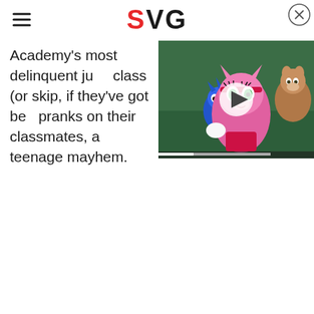SVG
Academy's most delinquent ju... class (or skip, if they've got be... pranks on their classmates, a... teenage mayhem.
[Figure (screenshot): Video thumbnail showing animated characters from Sonic Prime - Amy Rose (pink hedgehog) in foreground, Sonic (blue hedgehog) behind her, and another character. A play button overlay is shown in the center.]